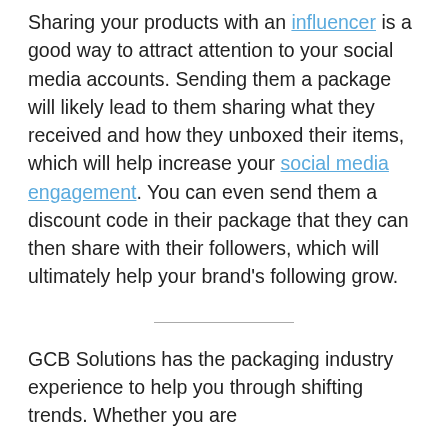Sharing your products with an influencer is a good way to attract attention to your social media accounts. Sending them a package will likely lead to them sharing what they received and how they unboxed their items, which will help increase your social media engagement. You can even send them a discount code in their package that they can then share with their followers, which will ultimately help your brand's following grow.
GCB Solutions has the packaging industry experience to help you through shifting trends. Whether you are